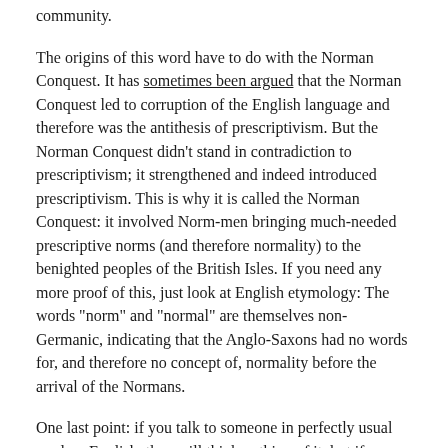community.
The origins of this word have to do with the Norman Conquest. It has sometimes been argued that the Norman Conquest led to corruption of the English language and therefore was the antithesis of prescriptivism. But the Norman Conquest didn’t stand in contradiction to prescriptivism; it strengthened and indeed introduced prescriptivism. This is why it is called the Norman Conquest: it involved Norm-men bringing much-needed prescriptive norms (and therefore normality) to the benighted peoples of the British Isles. If you need any more proof of this, just look at English etymology: The words “norm” and “normal” are themselves non-Germanic, indicating that the Anglo-Saxons had no words for, and therefore no concept of, normality before the arrival of the Normans.
One last point: if you talk to someone in perfectly usual modern English, they will think nothing of it, but if you talk to them in Old English, they will probably say something like: “Why don’t you just talk normal [i.e. in the normative or Norman fashion]?” This shows that Norm(an)ness is inextricably tied to and a necessary prerequisite for prescriptivism.